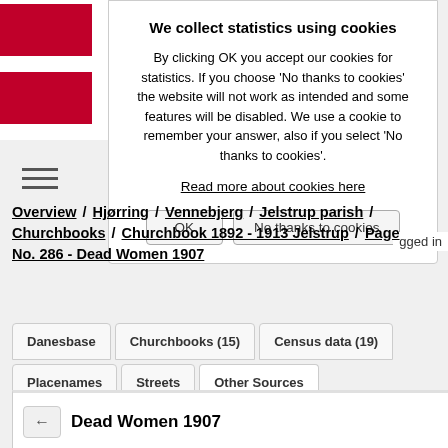We collect statistics using cookies
By clicking OK you accept our cookies for statistics. If you choose 'No thanks to cookies' the website will not work as intended and some features will be disabled. We use a cookie to remember your answer, also if you select 'No thanks to cookies'.
Read more about cookies here
OK | No thanks to cookies
Overview / Hjørring / Vennebjerg / Jelstrup parish / Churchbooks / Churchbook 1892 - 1913 Jelstrup / Page No. 286 - Dead Women 1907
Danesbase | Churchbooks (15) | Census data (19) | Placenames | Streets | Other Sources
Dead Women 1907